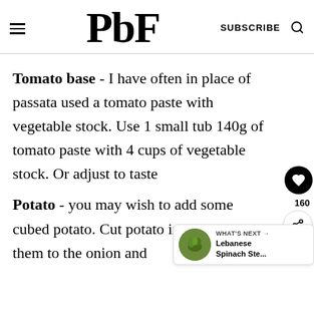PbF  SUBSCRIBE
Tomato base - I have often in place of passata used a tomato paste with vegetable stock. Use 1 small tub 140g of tomato paste with 4 cups of vegetable stock. Or adjust to taste
Potato - you may wish to add some cubed potato. Cut potato into dices, add them to the onion and